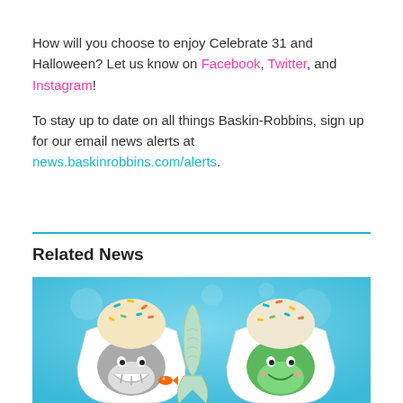How will you choose to enjoy Celebrate 31 and Halloween? Let us know on Facebook, Twitter, and Instagram!
To stay up to date on all things Baskin-Robbins, sign up for our email news alerts at news.baskinrobbins.com/alerts.
Related News
[Figure (photo): Photo of three Baskin-Robbins ice cream cups with colorful sprinkles, featuring cartoon characters: a shark, a mermaid tail, and a turtle, on a blue underwater-themed background.]